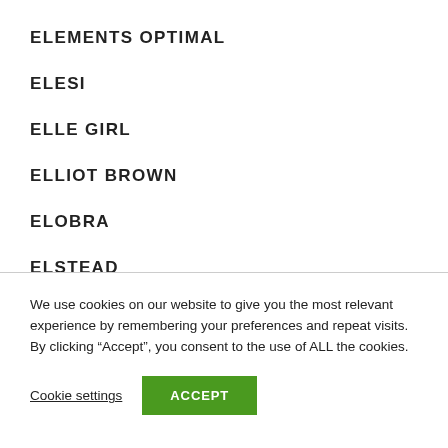ELEMENTS OPTIMAL
ELESI
ELLE GIRL
ELLIOT BROWN
ELOBRA
ELSTEAD
We use cookies on our website to give you the most relevant experience by remembering your preferences and repeat visits. By clicking “Accept”, you consent to the use of ALL the cookies.
Cookie settings
ACCEPT